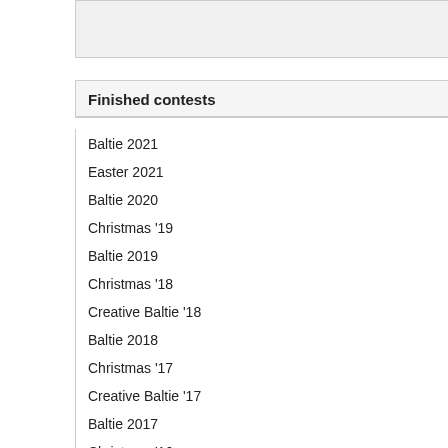Finished contests
Baltie 2021
Easter 2021
Baltie 2020
Christmas '19
Baltie 2019
Christmas '18
Creative Baltie '18
Baltie 2018
Christmas '17
Creative Baltie '17
Baltie 2017
Christmas '16
Creative Baltie '16
Baltie 2016
Christmas 2015
17:30 - 17:
18:00 - 18:
18:30 - 19:
Saturday:
7:30 - 8:45
9:00 - con
9:30 - 12:3
12:00 - 13
14:15 - trip
19:00 - din
Sunday:
7:30 - 8:30
9:00 - com
9:30 - 10:3
Map of even
Accommodation: PTSM "Olea
▪ maps and
Deadlines: 11 April - en
17 April - en
Fees Kraków: ▪ participation
▪ optional - a
▪ optional - n